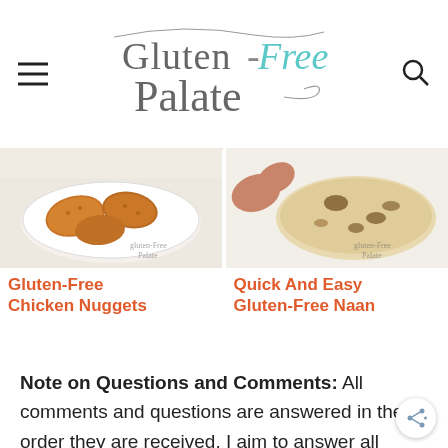Gluten-Free Palate
[Figure (photo): Gluten-Free Chicken Nuggets on a white plate, with Gluten-Free Palate watermark]
Gluten-Free Chicken Nuggets
[Figure (photo): Quick And Easy Gluten-Free Naan bread with char marks, with Gluten-Free Palate watermark]
Quick And Easy Gluten-Free Naan
Note on Questions and Comments: All comments and questions are answered in the order they are received. I aim to answer all questions within 48 hours. There may be a delay on weekends and